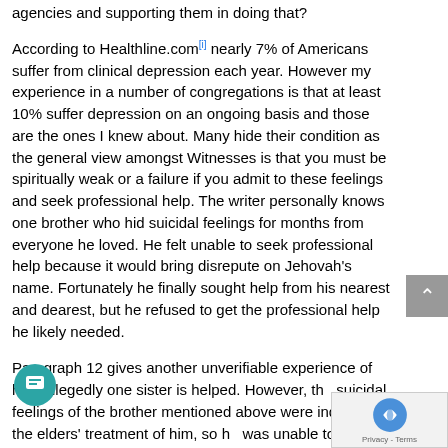agencies and supporting them in doing that?
According to Healthline.com[i] nearly 7% of Americans suffer from clinical depression each year. However my experience in a number of congregations is that at least 10% suffer depression on an ongoing basis and those are the ones I knew about. Many hide their condition as the general view amongst Witnesses is that you must be spiritually weak or a failure if you admit to these feelings and seek professional help. The writer personally knows one brother who hid suicidal feelings for months from everyone he loved. He felt unable to seek professional help because it would bring disrepute on Jehovah’s name. Fortunately he finally sought help from his nearest and dearest, but he refused to get the professional help he likely needed.
Paragraph 12 gives another unverifiable experience of how allegedly one sister is helped. However, the suicidal feelings of the brother mentioned above were induced by the elders’ treatment of him, so he was unable to turn to them on his fellow...